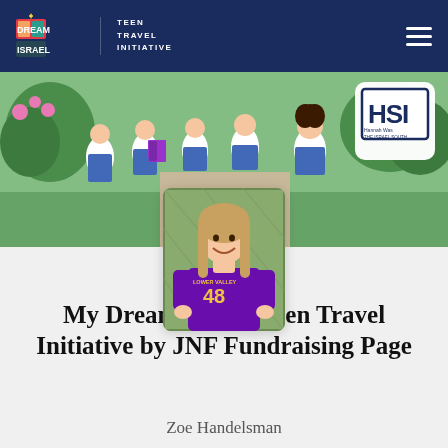Dream Israel Teen Travel Initiative
[Figure (photo): Group of teenage girls wearing white HSI t-shirts walking outdoors with trees and flowers in background; HSI logo badge visible top right]
[Figure (photo): Profile photo of Zoe Handelsman wearing purple sports jersey number 48, smiling, standing in front of a fence]
My Dream Israel: Teen Travel Initiative by JNF Fundraising Page
Zoe Handelsman